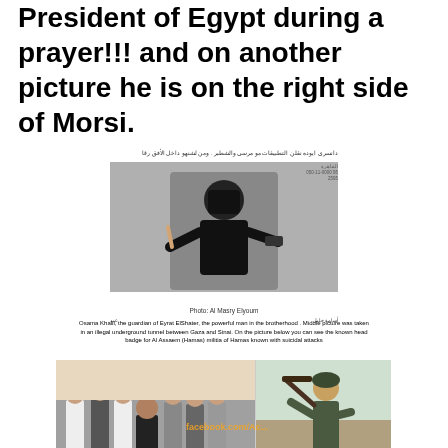President of Egypt during a prayer!!! and on another picture he is on the right side of Morsi.
[Figure (photo): Masked figure in black holding a gun, with Arabic text caption above and below. Photo credit: Al Masry Elyoum.]
Photo: Al Masry Elyoum
Osama Khalil, the guardian of Eyrat ElShater, the powerful man in the brotherhood . Middle picture was taken in an illegal underground tunnel between Gaza and Sinai. On the picture below you can see the known head badge for Al Assaem (Hamas) militia of Hamas known with suicidal attacks
[Figure (photo): Group photo showing men praying, alongside a man with a rifle. Facebook watermark visible.]
Osama Khalil standing behind Mohammed Morsi during a prayer